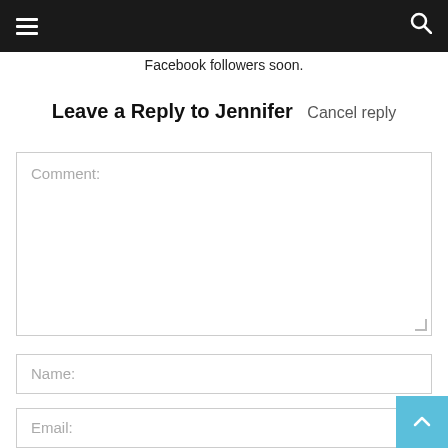Facebook followers soon.
Leave a Reply to Jennifer  Cancel reply
Comment:
Name:
Email: